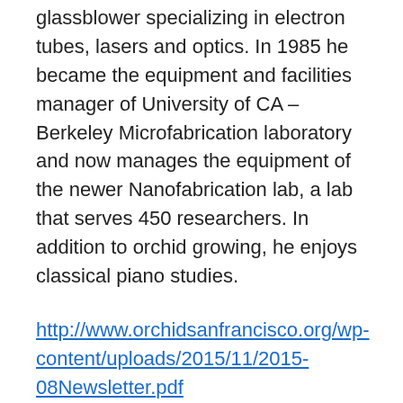glassblower specializing in electron tubes, lasers and optics. In 1985 he became the equipment and facilities manager of University of CA – Berkeley Microfabrication laboratory and now manages the equipment of the newer Nanofabrication lab, a lab that serves 450 researchers. In addition to orchid growing, he enjoys classical piano studies.
http://www.orchidsanfrancisco.org/wp-content/uploads/2015/11/2015-08Newsletter.pdf
http://www.berkeley.edu/map?sutardja
In July, 2009, the University of California at Berkeley began operation of a new 15,000 square foot clean room- the Marvell Nanofabrication Laboratory. This laboratory will be the successor to The Berkeley Microlab. All equipment from the Berkeley Microlab and several satellite